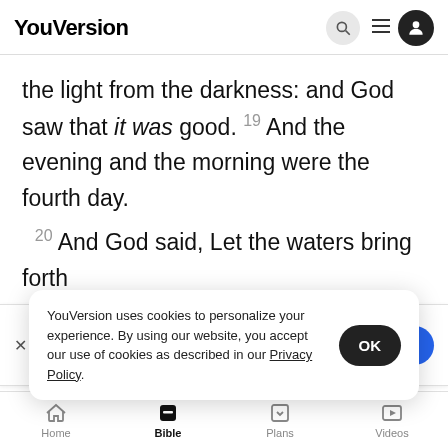YouVersion
the light from the darkness: and God saw that it was good. 19 And the evening and the morning were the fourth day.
20 And God said, Let the waters bring forth
[Figure (screenshot): The Bible App download banner with Holy Bible app icon, 4-star rating, 7.9M reviews, and Download button]
firmame...
whales...
which the waters brought forth abundantly, after
YouVersion uses cookies to personalize your experience. By using our website, you accept our use of cookies as described in our Privacy Policy.
Home | Bible | Plans | Videos